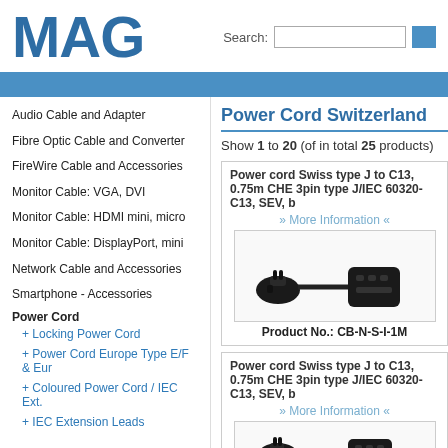MAG
Audio Cable and Adapter
Fibre Optic Cable and Converter
FireWire Cable and Accessories
Monitor Cable: VGA, DVI
Monitor Cable: HDMI mini, micro
Monitor Cable: DisplayPort, mini
Network Cable and Accessories
Smartphone - Accessories
Power Cord
+ Locking Power Cord
+ Power Cord Europe Type E/F & Eur
+ Coloured Power Cord / IEC Ext.
+ IEC Extension Leads
Power Cord Switzerland
Show 1 to 20 (of in total 25 products)
Power cord Swiss type J to C13, 0.75m CHE 3pin type J/IEC 60320-C13, SEV, b
» More Information «
[Figure (photo): Photo of a Swiss type J power cord plug and IEC C13 connector]
Product No.: CB-N-S-I-1M
Power cord Swiss type J to C13, 0.75m CHE 3pin type J/IEC 60320-C13, SEV, b
» More Information «
[Figure (photo): Photo of a Swiss type J power cord plug and IEC C13 connector (second product)]